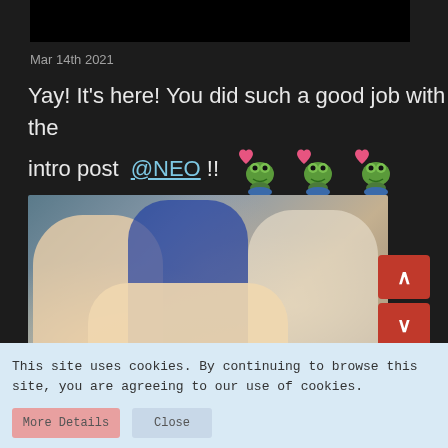[Figure (photo): Black rectangular bar at top of post]
Mar 14th 2021
Yay! It's here! You did such a good job with the intro post @NEO !!
[Figure (photo): Group selfie photo of four young people smiling outdoors]
This site uses cookies. By continuing to browse this site, you are agreeing to our use of cookies.
More Details
Close